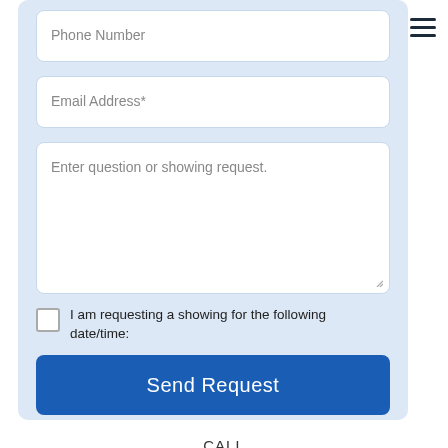Phone Number
Email Address*
Enter question or showing request.
I am requesting a showing for the following date/time:
Send Request
CALL
(317) 578-3220
(317) 578-3220